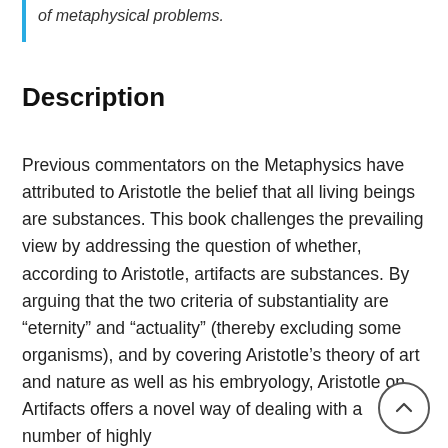of metaphysical problems.
Description
Previous commentators on the Metaphysics have attributed to Aristotle the belief that all living beings are substances. This book challenges the prevailing view by addressing the question of whether, according to Aristotle, artifacts are substances. By arguing that the two criteria of substantiality are “eternity” and “actuality” (thereby excluding some organisms), and by covering Aristotle’s theory of art and nature as well as his embryology, Aristotle on Artifacts offers a novel way of dealing with a number of highly